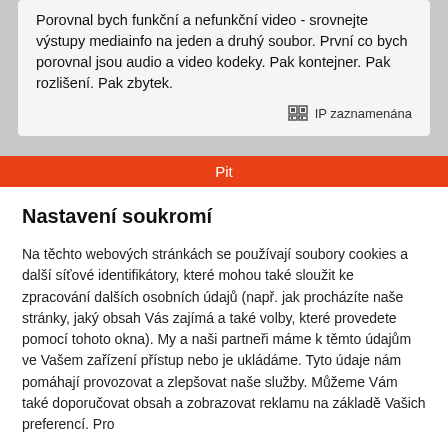Porovnal bych funkční a nefunkční video - srovnejte výstupy mediainfo na jeden a druhý soubor. První co bych porovnal jsou audio a video kodeky. Pak kontejner. Pak rozlišení. Pak zbytek.
IP zaznamenána
Pit
Nastavení soukromí
Na těchto webových stránkách se používají soubory cookies a další síťové identifikátory, které mohou také sloužit ke zpracování dalších osobních údajů (např. jak procházíte naše stránky, jaký obsah Vás zajímá a také volby, které provedete pomocí tohoto okna). My a naši partneři máme k těmto údajům ve Vašem zařízení přístup nebo je ukládáme. Tyto údaje nám pomáhají provozovat a zlepšovat naše služby. Můžeme Vám také doporučovat obsah a zobrazovat reklamu na základě Vašich preferencí. Pro
Podrobné nastavení
Rozumím a přijímám